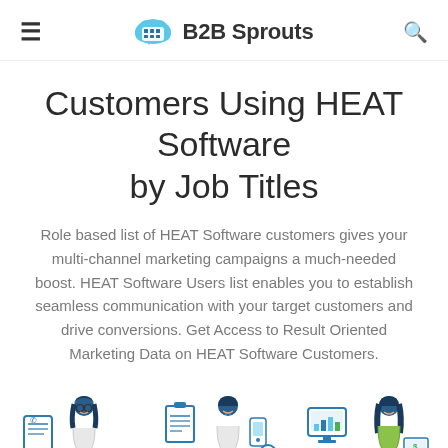B2B Sprouts
Customers Using HEAT Software by Job Titles
Role based list of HEAT Software customers gives your multi-channel marketing campaigns a much-needed boost. HEAT Software Users list enables you to establish seamless communication with your target customers and drive conversions. Get Access to Result Oriented Marketing Data on HEAT Software Customers.
[Figure (illustration): Three illustrated business people with icons representing contact, clipboard/checklist, and computer/analytics tools, in a B2B marketing style.]